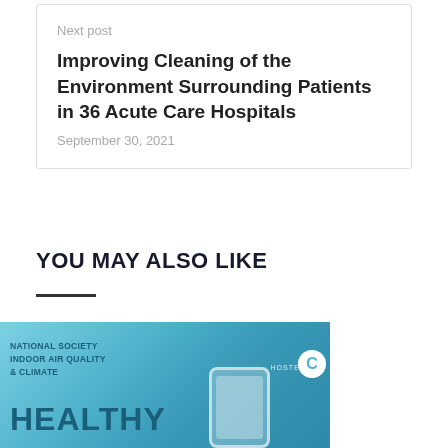Next post
Improving Cleaning of the Environment Surrounding Patients in 36 Acute Care Hospitals
September 30, 2021
YOU MAY ALSO LIKE
[Figure (photo): Light blue promotional image showing text NATIONAL SOCIETY INDOOR AIR QUALITY CLIMATE with HOSTED BY label and a C logo, and large HEALTHY text at the bottom with a phone graphic]